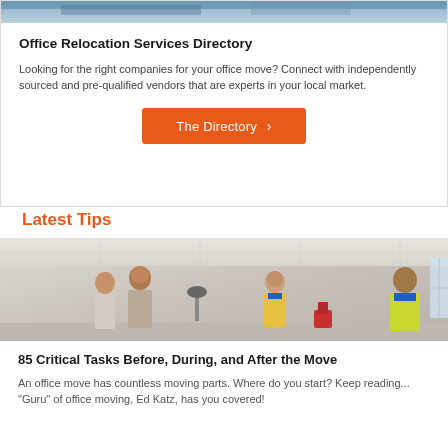[Figure (photo): Top partial image of an office scene with blue-toned background]
Office Relocation Services Directory
Looking for the right companies for your office move? Connect with independently sourced and pre-qualified vendors that are experts in your local market.
[Figure (other): Orange button labeled 'The Directory >']
Latest Tips
[Figure (photo): Office scene with people talking and workers in hi-vis vests during an office move]
85 Critical Tasks Before, During, and After the Move
An office move has countless moving parts. Where do you start? Keep reading... "Guru" of office moving, Ed Katz, has you covered!